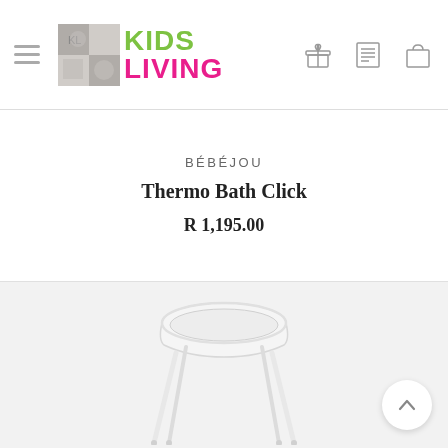Kids Living — navigation header with logo, menu icon, and nav icons
BÉBÉJOU
Thermo Bath Click
R 1,195.00
[Figure (photo): White baby bath tub on four tall white metal legs (Bébéjou Thermo Bath Click), shown on a light grey background. A circular scroll-to-top button with a chevron up icon appears in the lower right.]